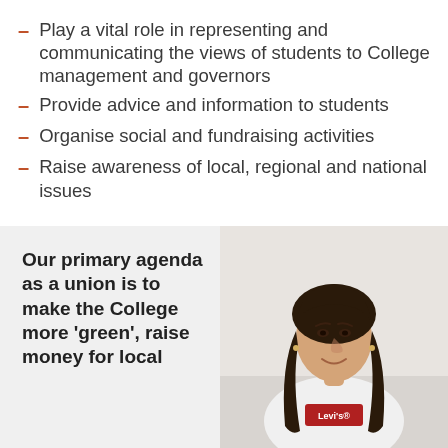Play a vital role in representing and communicating the views of students to College management and governors
Provide advice and information to students
Organise social and fundraising activities
Raise awareness of local, regional and national issues
Our primary agenda as a union is to make the College more 'green', raise money for local
[Figure (photo): Young woman with long dark wavy hair, wearing a white Levi's t-shirt, smiling at camera against a light background]